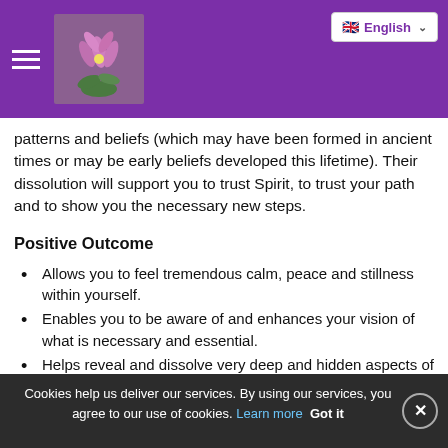English (language selector)
patterns and beliefs (which may have been formed in ancient times or may be early beliefs developed this lifetime). Their dissolution will support you to trust Spirit, to trust your path and to show you the necessary new steps.
Positive Outcome
Allows you to feel tremendous calm, peace and stillness within yourself.
Enables you to be aware of and enhances your vision of what is necessary and essential.
Helps reveal and dissolve very deep and hidden aspects of yourself.
Connects one to both the Wisdom of the
Cookies help us deliver our services. By using our services, you agree to our use of cookies. Learn more Got it